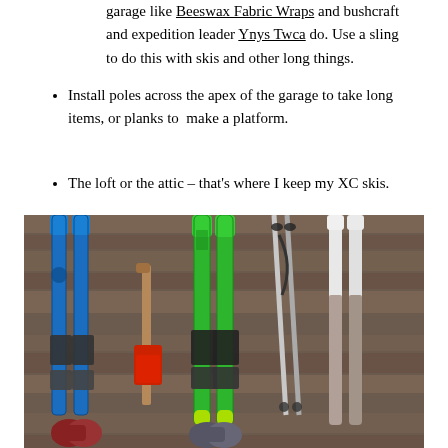garage like Beeswax Fabric Wraps and bushcraft and expedition leader Ynys Twca do. Use a sling to do this with skis and other long things.
Install poles across the apex of the garage to take long items, or planks to make a platform.
The loft or the attic – that's where I keep my XC skis.
[Figure (photo): Various ski equipment laid out on a wooden deck background, including blue skis with bindings, green skis with bindings, a red snow shovel, ski poles, ski boots, and worn skis, arranged side by side viewed from above.]